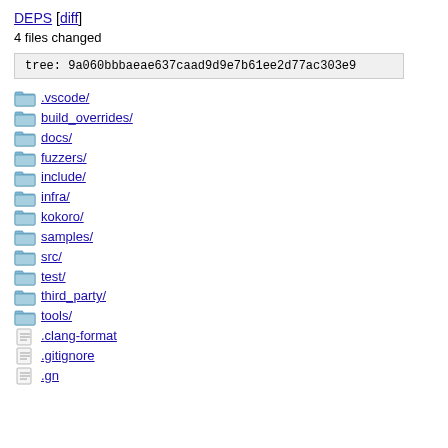DEPS [diff]
4 files changed
tree: 9a060bbbaeae637caad9d9e7b61ee2d77ac303e9
.vscode/
build_overrides/
docs/
fuzzers/
include/
infra/
kokoro/
samples/
src/
test/
third_party/
tools/
.clang-format
.gitignore
.gn